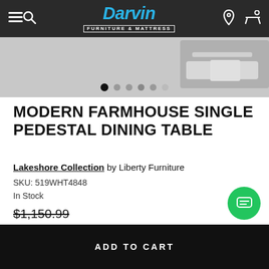Darvin Furniture & Mattress - navigation bar
[Figure (screenshot): Partial product image of dining table in gray carousel area with 6 navigation dots below]
MODERN FARMHOUSE SINGLE PEDESTAL DINING TABLE
Lakeshore Collection by Liberty Furniture
SKU: 519WHT4848
In Stock
$1,150.99
Super Value Price: $460.99
BE THE FIRST TO WRITE A REVIEW
ADD TO CART